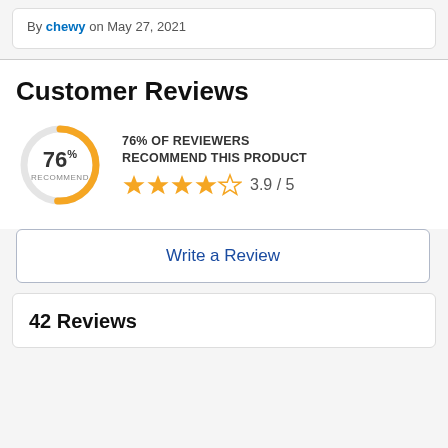By chewy on May 27, 2021
Customer Reviews
[Figure (donut-chart): 76% RECOMMEND]
76% OF REVIEWERS RECOMMEND THIS PRODUCT
3.9 / 5
Write a Review
42 Reviews